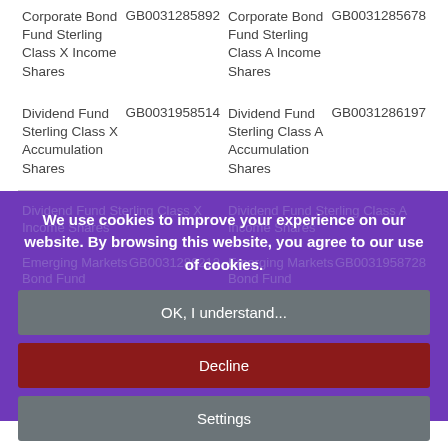Corporate Bond Fund Sterling Class X Income Shares GB0031285892
Corporate Bond Fund Sterling Class A Income Shares GB0031285678
Dividend Fund Sterling Class X Accumulation Shares GB0031958514
Dividend Fund Sterling Class A Accumulation Shares GB0031286197
[Figure (screenshot): Cookie consent overlay on purple background showing fund details. Contains a cookie notice with buttons: OK I understand, Decline, Settings, More Info. Background shows Dividend Fund and Emerging Markets Bond Fund Sterling Class rows with ISINs GB0031286212 and GB0031958728.]